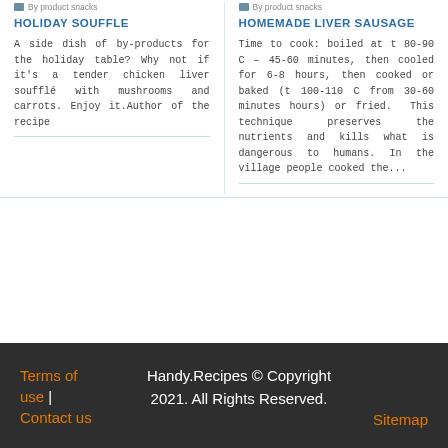By product snacks
By product snacks
HOLIDAY SOUFFLE
HOMEMADE LIVER SAUSAGE
A side dish of by-products for the holiday table? Why not if it's a tender chicken liver soufflé with mushrooms and carrots. Enjoy it.Author of the recipe
Time to cook: boiled at t 80-90 C – 45-60 minutes, then cooled for 6-8 hours, then cooked or baked (t 100-110 C from 30-60 minutes hours) or fried. This technique preserves the nutrients and kills what is dangerous to humans. In the village people cooked the...
Terms of use | Contact us    Handy.Recipes © Copyright 2021. All Rights Reserved.    Sitemap